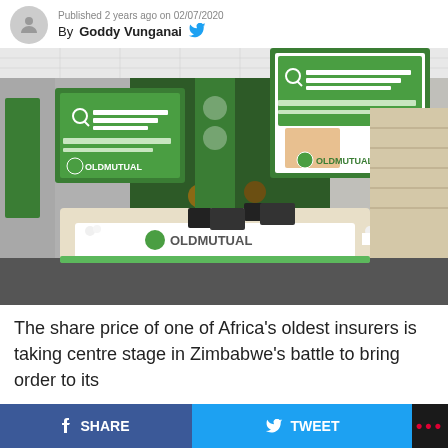Published 2 years ago on 02/07/2020
By Goddy Vunganai
[Figure (photo): Old Mutual office reception area with two staff members behind a modern desk featuring Old Mutual branding and green accents, with promotional banners visible in the background]
The share price of one of Africa's oldest insurers is taking centre stage in Zimbabwe's battle to bring order to its